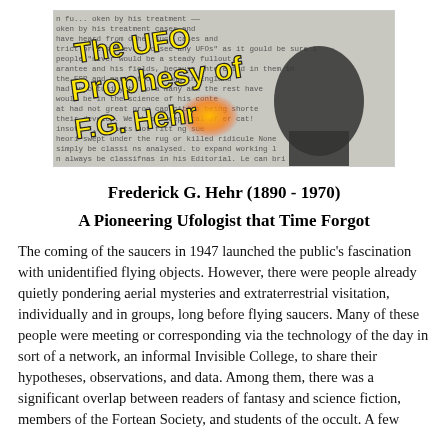[Figure (illustration): Book cover image for 'The UFO Prophesy of F.G. Hehr' showing a silhouette of a head against a background of newsprint text, with yellow stylized title lettering and an orange glowing light.]
Frederick G. Hehr (1890 - 1970)
A Pioneering Ufologist that Time Forgot
The coming of the saucers in 1947 launched the public's fascination with unidentified flying objects. However, there were people already quietly pondering aerial mysteries and extraterrestrial visitation, individually and in groups, long before flying saucers. Many of these people were meeting or corresponding via the technology of the day in sort of a network, an informal Invisible College, to share their hypotheses, observations, and data. Among them, there was a significant overlap between readers of fantasy and science fiction, members of the Fortean Society, and students of the occult. A few